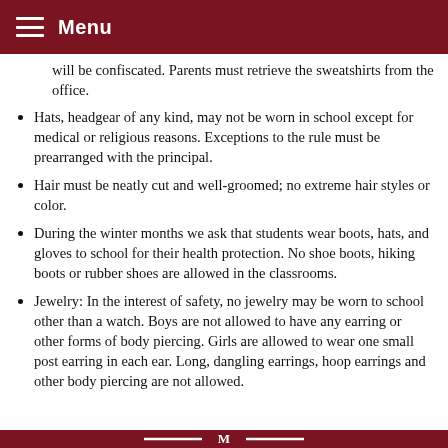Menu
will be confiscated. Parents must retrieve the sweatshirts from the office.
Hats, headgear of any kind, may not be worn in school except for medical or religious reasons. Exceptions to the rule must be prearranged with the principal.
Hair must be neatly cut and well-groomed; no extreme hair styles or color.
During the winter months we ask that students wear boots, hats, and gloves to school for their health protection. No shoe boots, hiking boots or rubber shoes are allowed in the classrooms.
Jewelry: In the interest of safety, no jewelry may be worn to school other than a watch. Boys are not allowed to have any earring or other forms of body piercing. Girls are allowed to wear one small post earring in each ear. Long, dangling earrings, hoop earrings and other body piercing are not allowed.